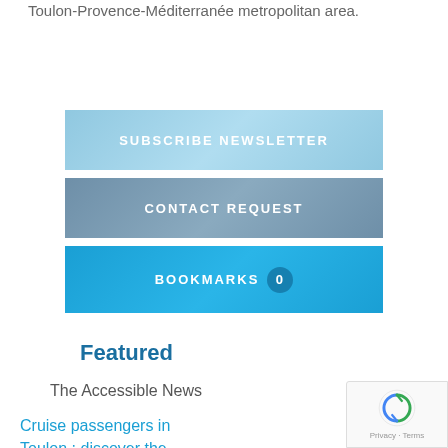Toulon-Provence-Méditerranée metropolitan area.
SUBSCRIBE NEWSLETTER
CONTACT REQUEST
BOOKMARKS 0
Featured
The Accessible News
Cruise passengers in Toulon : discover the